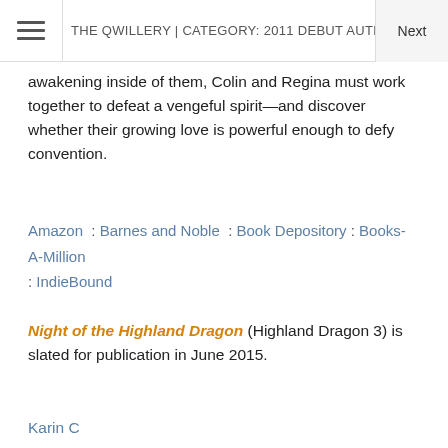THE QWILLERY | CATEGORY: 2011 DEBUT AUTHOR CHALLENG  Next
awakening inside of them, Colin and Regina must work together to defeat a vengeful spirit—and discover whether their growing love is powerful enough to defy convention.
Amazon : Barnes and Noble : Book Depository : Books-A-Million : IndieBound
Night of the Highland Dragon (Highland Dragon 3) is slated for publication in June 2015.
Karin C...